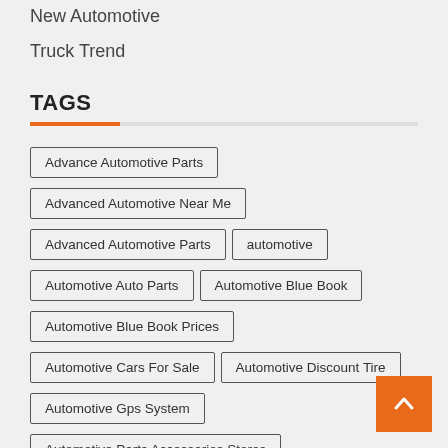New Automotive
Truck Trend
TAGS
Advance Automotive Parts
Advanced Automotive Near Me
Advanced Automotive Parts
automotive
Automotive Auto Parts
Automotive Blue Book
Automotive Blue Book Prices
Automotive Cars For Sale
Automotive Discount Tire
Automotive Gps System
Automotive Parts Accessories Stores
Automotive Parts And Accessories Stores